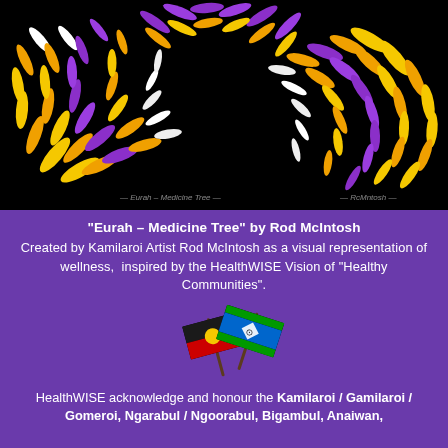[Figure (illustration): Aboriginal artwork titled 'Eurah - Medicine Tree' by Rod McIntosh. Swirling feather-like shapes in yellow, orange, purple and white on a black background, radiating from a central point in a circular pattern.]
"Eurah – Medicine Tree" by Rod McIntosh
Created by Kamilaroi Artist Rod McIntosh as a visual representation of wellness,  inspired by the HealthWISE Vision of "Healthy Communities".
[Figure (illustration): Two crossed flags: the Aboriginal Australian flag (black, red, yellow circle) and the Torres Strait Islander flag (green, blue, white, with symbol).]
HealthWISE acknowledge and honour the Kamilaroi / Gamilaroi / Gomeroi, Ngarabul / Ngoorabul, Bigambul, Anaiwan,